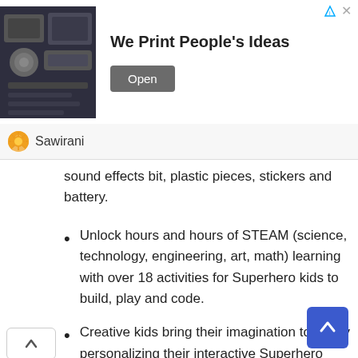[Figure (screenshot): Advertisement banner with a photo of printing/manufacturing equipment on the left, bold text 'We Print People's Ideas' in the center, and an 'Open' button on the right. Small triangular ad icon and X button in top-right corner.]
Sawirani
sound effects bit, plastic pieces, stickers and battery.
Unlock hours and hours of STEAM (science, technology, engineering, art, math) learning with over 18 activities for Superhero kids to build, play and code.
Creative kids bring their imagination to life by personalizing their interactive Superhero gear with included sticker sheets and household items.
No grown-ups necessary: in-app step by step video instructions and troubleshooting guide kids through fun